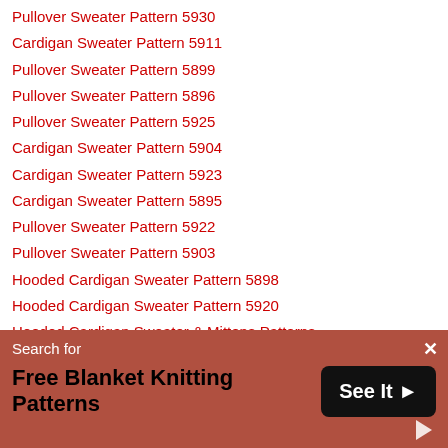Pullover Sweater Pattern 5930
Cardigan Sweater Pattern 5911
Pullover Sweater Pattern 5899
Pullover Sweater Pattern 5896
Pullover Sweater Pattern 5925
Cardigan Sweater Pattern 5904
Cardigan Sweater Pattern 5923
Cardigan Sweater Pattern 5895
Pullover Sweater Pattern 5922
Pullover Sweater Pattern 5903
Hooded Cardigan Sweater Pattern 5898
Hooded Cardigan Sweater Pattern 5920
Hooded Cardigan Sweater & Mittens Patterns
Hooded Pullover Sweater Pattern 5912
Pullover Sweater Pattern 5892
Sweater, Mittens & Ear Warmer Patterns
Pullover Sweater Pattern 5926
Pullover Sweater Pattern 5891
Cardigan Sweater Pattern 5913
Search for Free Blanket Knitting Patterns